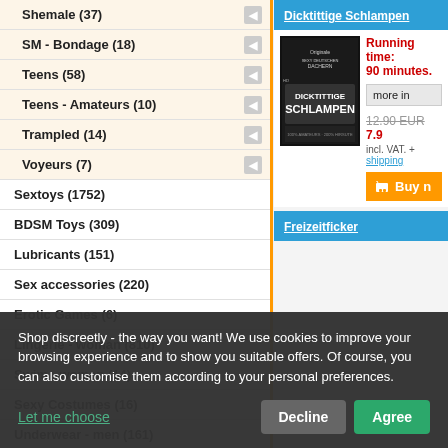Shemale (37)
SM - Bondage (18)
Teens (58)
Teens - Amateurs (10)
Trampled (14)
Voyeurs (7)
Sextoys (1752)
BDSM Toys (309)
Lubricants (151)
Sex accessories (220)
Erotic Games (6)
Lingerie - woman (810)
Swim - women (14)
Sexy Costumes (16)
Underwear - men (161)
Dicktittige Schlampen
Running time: 90 minutes.
[Figure (photo): DVD cover for Dicktittige Schlampen]
more info
12.90 EUR 7.90 EUR incl. VAT. + shipping
Buy now
Freizeitficker
Shop discreetly - the way you want! We use cookies to improve your browsing experience and to show you suitable offers. Of course, you can also customise them according to your personal preferences.
Let me choose
Decline
Agree